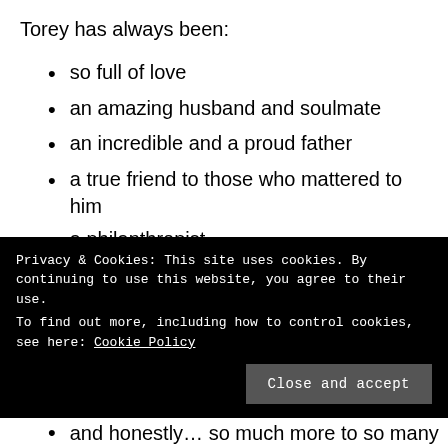Torey has always been:
so full of love
an amazing husband and soulmate
an incredible and a proud father
a true friend to those who mattered to him
a philanthropist
charismatic
romantic
inspiring
joyful
Privacy & Cookies: This site uses cookies. By continuing to use this website, you agree to their use.
To find out more, including how to control cookies, see here: Cookie Policy
and honestly… so much more to so many